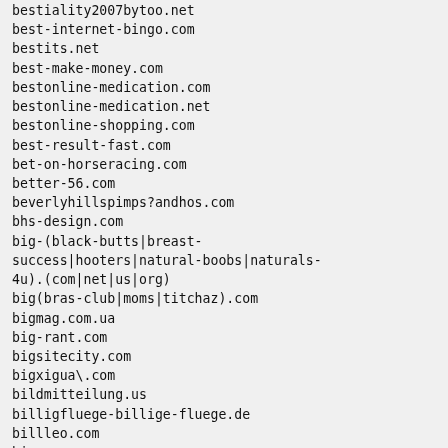bestiality2007bytoo.net
best-internet-bingo.com
bestits.net
best-make-money.com
bestonline-medication.com
bestonline-medication.net
bestonline-shopping.com
best-result-fast.com
bet-on-horseracing.com
better-56.com
beverlyhillspimps?andhos.com
bhs-design.com
big-(black-butts|breast-success|hooters|natural-boobs|naturals-4u).(com|net|us|org)
big(bras-club|moms|titchaz).com
bigmag.com.ua
big-rant.com
bigsitecity.com
bigxigua\.com
bildmitteilung.us
billigfluege-billige-fluege.de
billleo.com
bio-snoop.com
birth-control-links.com
bizhat.com